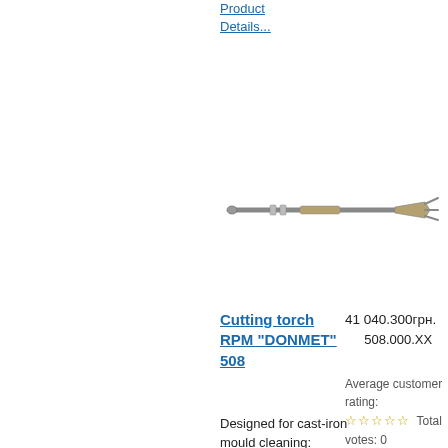Product Details...
[Figure (photo): Cutting torch RPM DONMET 508 - a long metallic cutting torch tool shown horizontally]
Cutting torch RPM "DONMET" 508
41 040.00 грн.
508.000.XX
Average customer rating: Total votes: 0
Designed for cast-iron mould cleaning: - scarfing inside of the cast-iron mould; - melting of insulated...